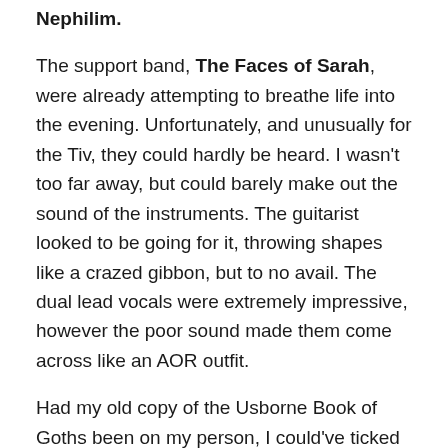Nephilim.
The support band, The Faces of Sarah, were already attempting to breathe life into the evening. Unfortunately, and unusually for the Tiv, they could hardly be heard. I wasn't too far away, but could barely make out the sound of the instruments. The guitarist looked to be going for it, throwing shapes like a crazed gibbon, but to no avail. The dual lead vocals were extremely impressive, however the poor sound made them come across like an AOR outfit.
Had my old copy of the Usborne Book of Goths been on my person, I could've ticked off several obvious dark rock tropes from the moment Fields of the Nephilim took the stage. There was so much dry ice the band could barely be seen, just a group of grey silhouettes in dusty cowboy hats. They begin in true over the top, cinematic style with 'The Harmonics Man'. Atmosphere is poured on with no